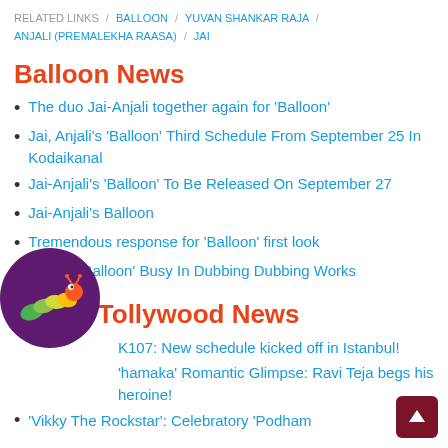RELATED LINKS / BALLOON / YUVAN SHANKAR RAJA / ANJALI (PREMALEKHA RAASA) / JAI
Balloon News
The duo Jai-Anjali together again for 'Balloon'
Jai, Anjali's 'Balloon' Third Schedule From September 25 In Kodaikanal
Jai-Anjali's 'Balloon' To Be Released On September 27
Jai-Anjali's Balloon
Tremendous response for 'Balloon' first look
Anjali's 'Balloon' Busy In Dubbing Dubbing Works
Latest Tollywood News
OK107: New schedule kicked off in Istanbul!
'hamaka' Romantic Glimpse: Ravi Teja begs his heroine!
'Vikky The Rockstar': Celebratory 'Podham